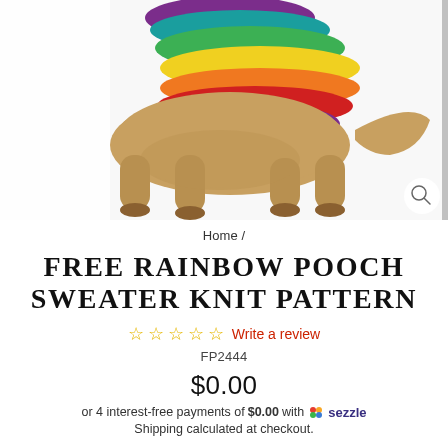[Figure (photo): A dog wearing a colorful rainbow knit sweater, photographed from behind/side angle against a white background. The sweater shows rainbow colors including purple, red, orange, yellow, green, and teal. A magnifying glass icon is visible in the lower right of the image area.]
Home /
FREE RAINBOW POOCH SWEATER KNIT PATTERN
☆☆☆☆☆ Write a review
FP2444
$0.00
or 4 interest-free payments of $0.00 with 🔥 sezzle
Shipping calculated at checkout.